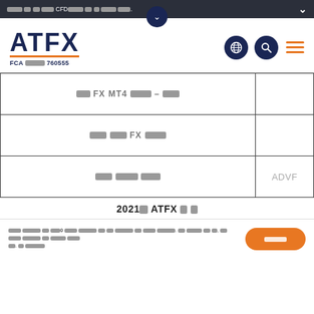[Redacted text] CFD[redacted text]
[Figure (logo): ATFX logo with FCA registration number 760555]
|  |  |
| --- | --- |
| [redacted] FX MT4 [redacted] - [redacted] |  |
| [redacted] FX [redacted] |  |
| [redacted] [redacted] | ADVF |
2021년도 ATFX 리뷰 요약
[Redacted body text describing ATFX services and risk disclaimer]